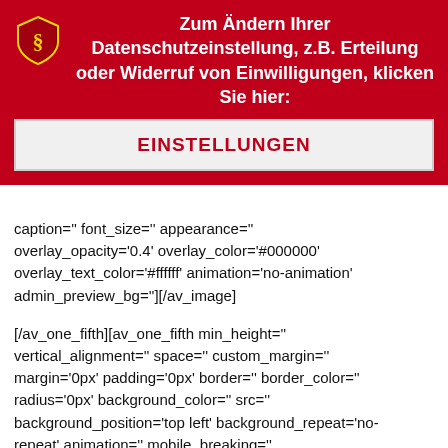[Figure (other): Red banner with shield logo and German privacy settings notice]
caption='' font_size='' appearance='' overlay_opacity='0.4' overlay_color='#000000' overlay_text_color='#ffffff' animation='no-animation' admin_preview_bg=''][/av_image]
[/av_one_fifth][av_one_fifth min_height='' vertical_alignment='' space='' custom_margin='' margin='0px' padding='0px' border='' border_color='' radius='0px' background_color='' src='' background_position='top left' background_repeat='no-repeat' animation='' mobile_breaking='' mobile_display='']
[av_image src='http://upon.baubesser.com/UP1/wp-content/uploads/schiedel.png' attachment='1090' attachment_size='full' align='center' styling='' hover=''